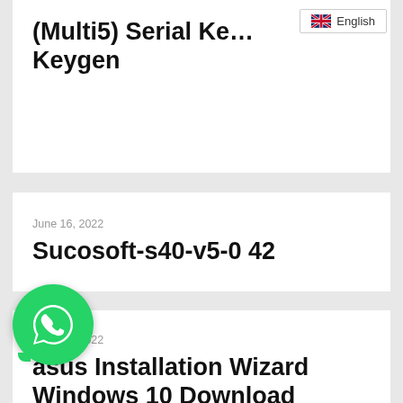(Multi5) Serial Key Keygen
English
June 16, 2022
Sucosoft-s40-v5-0 42
June 16, 2022
asus Installation Wizard Windows 10 Download [UPD]l
[Figure (logo): WhatsApp green circular icon with white phone handset]